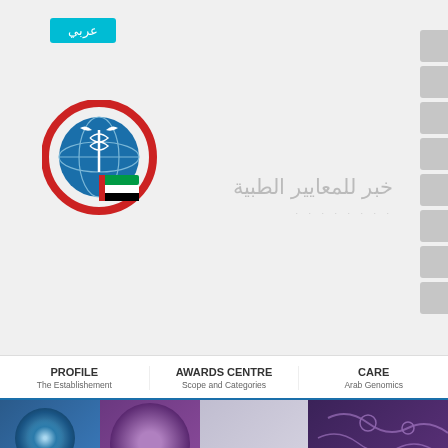عربي
[Figure (logo): Organization logo with globe, caduceus, and UAE flag colors]
خبر للمعايير الطبية
PROFILE
The Establishement
AWARDS CENTRE
Scope and Categories
CARE
Arab Genomics
[Figure (photo): Hero banner with microscopic virus/cell imagery in blue and purple tones with INFECTIOUS text overlay]